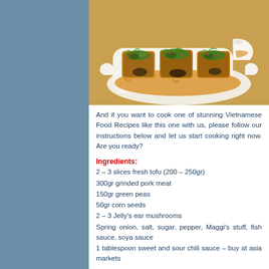[Figure (photo): Vietnamese tofu dish with stuffed pork filling, green onions and orange sauce served in a white ceramic dish with a sauce boat]
And if you want to cook one of stunning Vietnamese Food Recipes like this one with us, please follow our instructions below and let us start cooking right now. Are you ready?
Ingredients:
2 – 3 slices fresh tofu (200 – 250gr)
300gr grinded pork meat
150gr green peas
50gr corn seeds
2 – 3 Jelly's ear mushrooms
Spring onion, salt, sugar, pepper, Maggi's stuff, fish sauce, soya sauce
1 tablespoon sweet and sour chili sauce – buy at asia markets